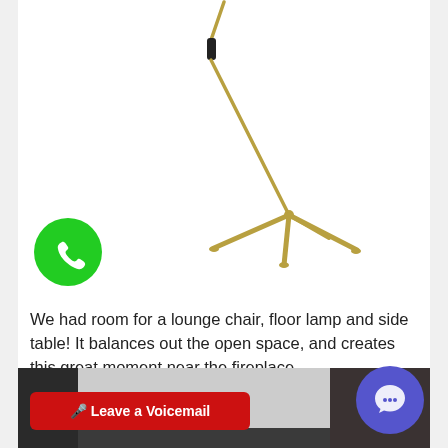[Figure (photo): Floor lamp with a thin gold/brass stem and tripod base, photographed on white background. The lamp curves at the top.]
We had room for a lounge chair, floor lamp and side table! It balances out the open space, and creates this great moment near the fireplace.
[Figure (photo): Bottom portion of a room interior showing what appears to be a fireplace or dark architectural feature, partially visible.]
[Figure (other): Red button labeled 'Leave a Voicemail' with microphone icon]
[Figure (other): Purple circular chat/voicemail bubble button with speech icon]
[Figure (other): Green circular phone call button]